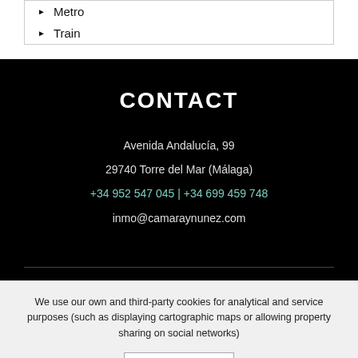Metro
Train
CONTACT
Avenida Andalucía, 99
29740 Torre del Mar (Málaga)
+34 952 547 045 | +34 699 459 748
inmo@camaraynunez.com
We use our own and third-party cookies for analytical and service purposes (such as displaying cartographic maps or allowing property sharing on social networks)
Accept cookies
More Information